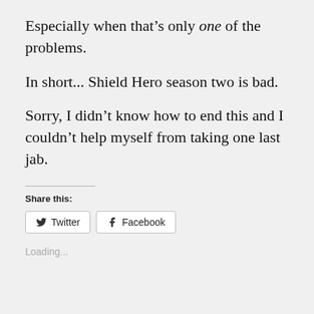Especially when that’s only one of the problems.
In short... Shield Hero season two is bad.
Sorry, I didn’t know how to end this and I couldn’t help myself from taking one last jab.
Share this:
[Figure (other): Twitter and Facebook share buttons]
Loading...